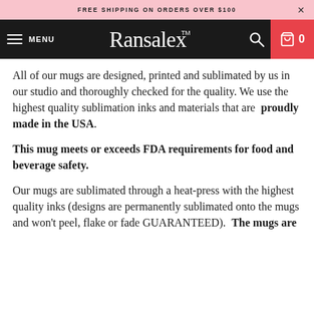FREE SHIPPING ON ORDERS OVER $100
[Figure (screenshot): Ransalex TM store navigation bar with hamburger menu, logo, search icon, and cart with 0 items]
All of our mugs are designed, printed and sublimated by us in our studio and thoroughly checked for the quality. We use the highest quality sublimation inks and materials that are proudly made in the USA.
This mug meets or exceeds FDA requirements for food and beverage safety.
Our mugs are sublimated through a heat-press with the highest quality inks (designs are permanently sublimated onto the mugs and won't peel, flake or fade GUARANTEED). The mugs are